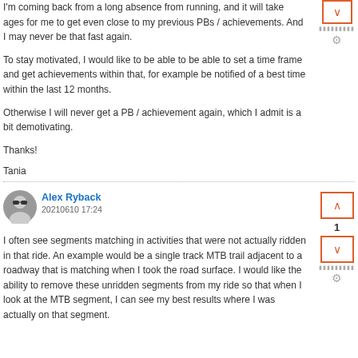I'm coming back from a long absence from running, and it will take ages for me to get even close to my previous PBs / achievements. And I may never be that fast again.
To stay motivated, I would like to be able to be able to set a time frame and get achievements within that, for example be notified of a best time within the last 12 months.
Otherwise I will never get a PB / achievement again, which I admit is a bit demotivating.
Thanks!
Tania
Alex Ryback
2021‎06‎10‎ 17:24
I often see segments matching in activities that were not actually ridden in that ride. An example would be a single track MTB trail adjacent to a roadway that is matching when I took the road surface. I would like the ability to remove these unridden segments from my ride so that when I look at the MTB segment, I can see my best results where I was actually on that segment.